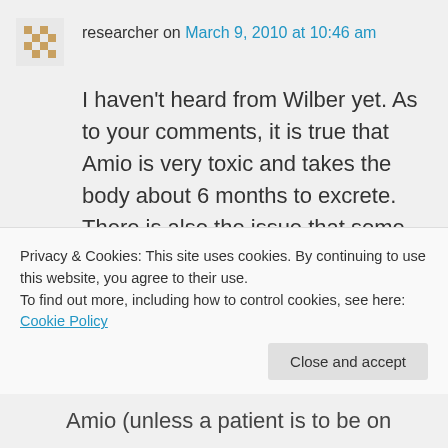researcher on March 9, 2010 at 10:46 am
I haven't heard from Wilber yet. As to your comments, it is true that Amio is very toxic and takes the body about 6 months to excrete. There is also the issue that some top expert EPs think (based on what data I don't know) that Amio modifies ectopic substrate and that
Privacy & Cookies: This site uses cookies. By continuing to use this website, you agree to their use.
To find out more, including how to control cookies, see here: Cookie Policy
Close and accept
Amio (unless a patient is to be on